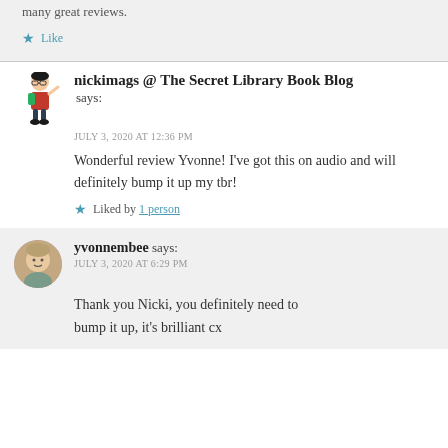many great reviews.
★ Like
nickimags @ The Secret Library Book Blog says:
JULY 3, 2020 AT 12:36 PM
Wonderful review Yvonne! I've got this on audio and will definitely bump it up my tbr!
★ Liked by 1 person
yvonnembee says:
JULY 3, 2020 AT 6:29 PM
Thank you Nicki, you definitely need to bump it up, it's brilliant cx